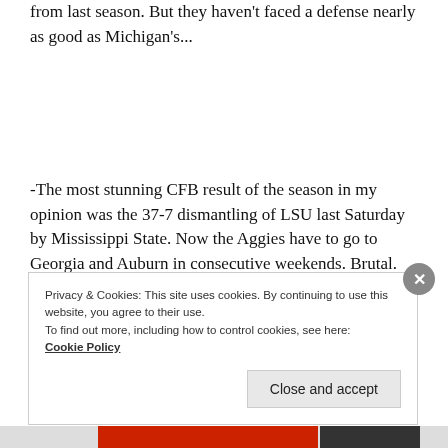from last season. But they haven't faced a defense nearly as good as Michigan's...
-The most stunning CFB result of the season in my opinion was the 37-7 dismantling of LSU last Saturday by Mississippi State. Now the Aggies have to go to Georgia and Auburn in consecutive weekends. Brutal. QB Nick
Privacy & Cookies: This site uses cookies. By continuing to use this website, you agree to their use.
To find out more, including how to control cookies, see here:
Cookie Policy
Close and accept